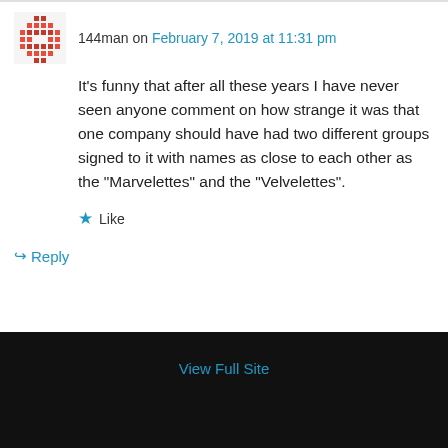144man on February 7, 2019 at 11:31 pm
It’s funny that after all these years I have never seen anyone comment on how strange it was that one company should have had two different groups signed to it with names as close to each other as the “Marvelettes” and the “Velvelettes”.
★ Like
↪ Reply
View Full Site